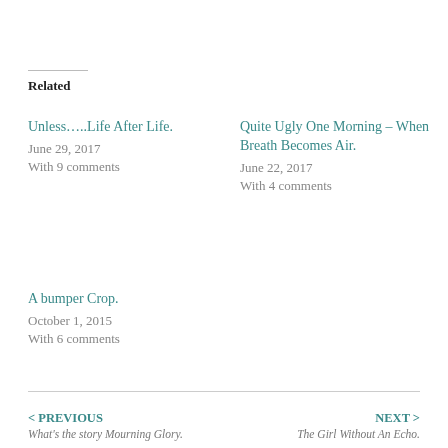Related
Unless.....Life After Life.
June 29, 2017
With 9 comments
Quite Ugly One Morning – When Breath Becomes Air.
June 22, 2017
With 4 comments
A bumper Crop.
October 1, 2015
With 6 comments
< PREVIOUS
What's the story Mourning Glory.
NEXT >
The Girl Without An Echo.